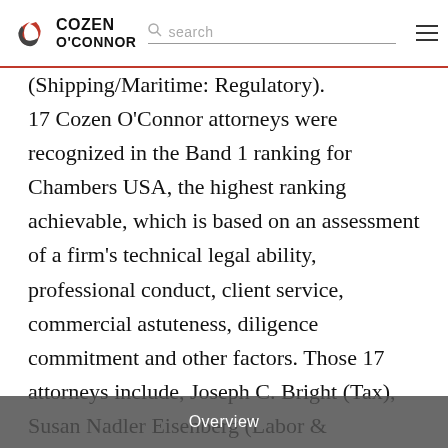Cozen O'Connor — search
(Shipping/Maritime: Regulatory).
17 Cozen O'Connor attorneys were recognized in the Band 1 ranking for Chambers USA, the highest ranking achievable, which is based on an assessment of a firm's technical legal ability, professional conduct, client service, commercial astuteness, diligence commitment and other factors. Those 17 attorneys include, Joseph C. Bright (Tax), Susan Nadler Eisenberg (Labor & Employment), Bruce W. Ficken (Construction), James A. Gale (Intellectual Property), Mark Gallant (Healthcare), Thomas S. Giotto (Labor & Employment), David Heffernan (Transportation: Aviation: Regulatory), Fred
Overview